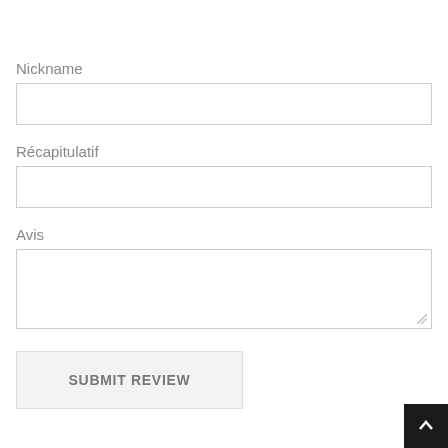Nickname
Récapitulatif
Avis
SUBMIT REVIEW